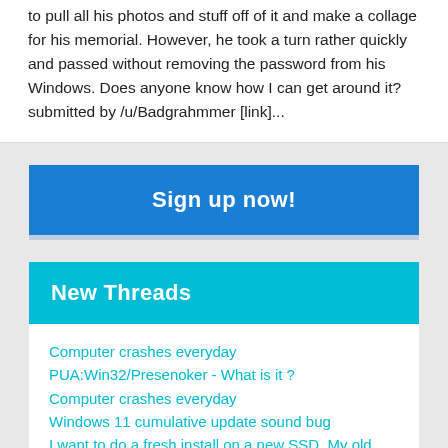to pull all his photos and stuff off of it and make a collage for his memorial. However, he took a turn rather quickly and passed without removing the password from his Windows. Does anyone know how I can get around it? submitted by /u/Badgrahmmer [link]...
[Figure (other): Blue 'Sign up now!' button]
New Threads
Computer crashes everyday
PUA:Win32/Presenoker - What is it ?
Computer crashes everyday
Windows 11 cumulative update sound bug
I want to do a fresh install on a new SSD. My old HDD is failing and I cannot create an...